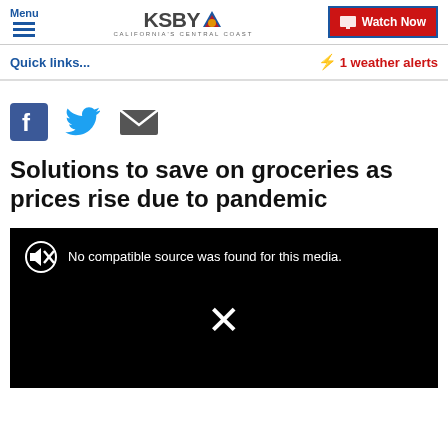Menu | KSBY California's Central Coast | Watch Now
Quick links...
⚡ 1 weather alerts
[Figure (screenshot): Social share icons: Facebook (blue), Twitter (blue bird), Email (gray envelope)]
Solutions to save on groceries as prices rise due to pandemic
[Figure (screenshot): Black video player with muted speaker icon and text: No compatible source was found for this media. Large X symbol in center.]